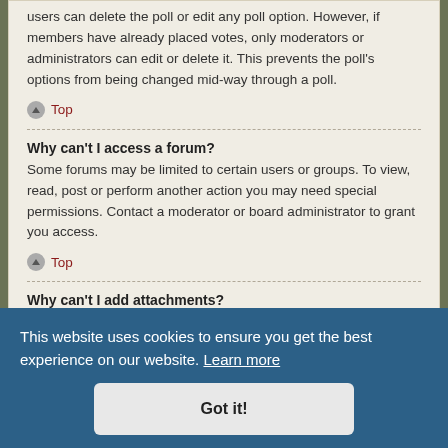users can delete the poll or edit any poll option. However, if members have already placed votes, only moderators or administrators can edit or delete it. This prevents the poll's options from being changed mid-way through a poll.
Top
Why can't I access a forum?
Some forums may be limited to certain users or groups. To view, read, post or perform another action you may need special permissions. Contact a moderator or board administrator to grant you access.
Top
Why can't I add attachments?
Attachment permissions are granted on a per forum, per group, or per user basis. The board administrator may not have allowed attachments to be added for the specific forum you are posting in, or perhaps only certain groups can post attachments. Contact the board administrator if you need to be able to post attachments.
Top
Why did I receive a warning?
Each board administrator has their own set of rules for their site. If you have broken a rule, you may be issued a warning. Please note that this
This website uses cookies to ensure you get the best experience on our website. Learn more
Got it!